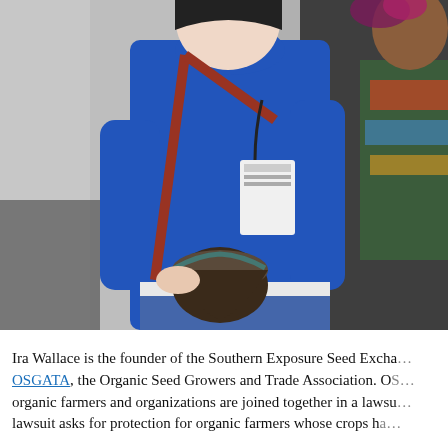[Figure (photo): Two people posing for a photo indoors. The person on the left wears a blue turtleneck long-sleeve shirt and holds a ceramic pot/bowl, with a red leather bag strap and a conference name badge. The person on the right wears a black jacket and colorful embroidered clothing. Background is a grey curtain.]
Ira Wallace is the founder of the Southern Exposure Seed Excha... OSGATA, the Organic Seed Growers and Trade Association. OS... organic farmers and organizations are joined together in a lawsu... lawsuit asks for protection for organic farmers whose crops ha...